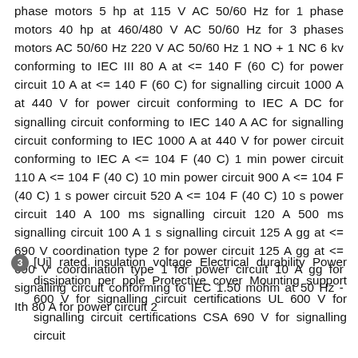phase motors 5 hp at 115 V AC 50/60 Hz for 1 phase motors 40 hp at 460/480 V AC 50/60 Hz for 3 phases motors AC 50/60 Hz 220 V AC 50/60 Hz 1 NO + 1 NC 6 kv conforming to IEC III 80 A at <= 140 F (60 C) for power circuit 10 A at <= 140 F (60 C) for signalling circuit 1000 A at 440 V for power circuit conforming to IEC A DC for signalling circuit conforming to IEC 140 A AC for signalling circuit conforming to IEC 1000 A at 440 V for power circuit conforming to IEC A <= 104 F (40 C) 1 min power circuit 110 A <= 104 F (40 C) 10 min power circuit 900 A <= 104 F (40 C) 1 s power circuit 520 A <= 104 F (40 C) 10 s power circuit 140 A 100 ms signalling circuit 120 A 500 ms signalling circuit 100 A 1 s signalling circuit 125 A gg at <= 690 V coordination type 2 for power circuit 125 A gg at <= 690 V coordination type 1 for power circuit 10 A gg for signalling circuit conforming to IEC 1.50 mohm at 50 Hz - Ith 80 A for power circuit 2
3 [Ui] rated insulation voltage Electrical durability Power dissipation per pole Protective cover Mounting support 600 V for signalling circuit certifications UL 600 V for signalling circuit certifications CSA 690 V for signalling circuit